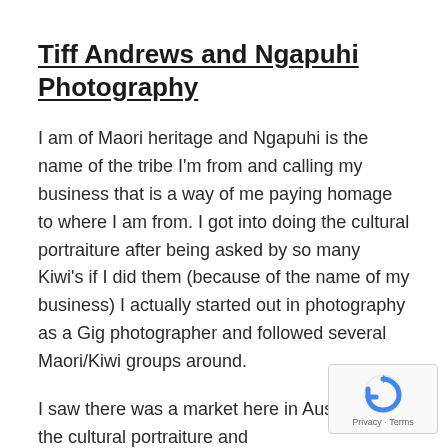Tiff Andrews and Ngapuhi Photography
I am of Maori heritage and Ngapuhi is the name of the tribe I'm from and calling my business that is a way of me paying homage to where I am from. I got into doing the cultural portraiture after being asked by so many Kiwi's if I did them (because of the name of my business) I actually started out in photography as a Gig photographer and followed several Maori/Kiwi groups around.
I saw there was a market here in Australia for the cultural portraiture and